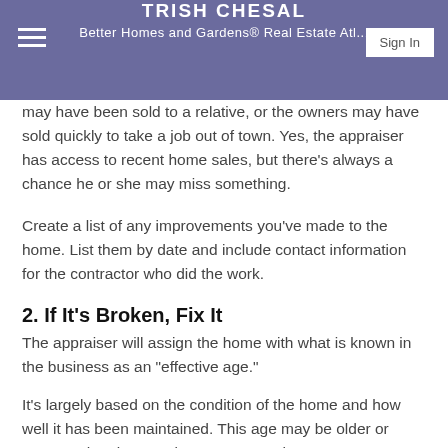TRISH CHESAL
Better Homes and Gardens® Real Estate Atl...
may have been sold to a relative, or the owners may have sold quickly to take a job out of town. Yes, the appraiser has access to recent home sales, but there's always a chance he or she may miss something.
Create a list of any improvements you've made to the home. List them by date and include contact information for the contractor who did the work.
2. If It's Broken, Fix It
The appraiser will assign the home with what is known in the business as an "effective age."
It's largely based on the condition of the home and how well it has been maintained. This age may be older or younger than its actual age. "Say you have a